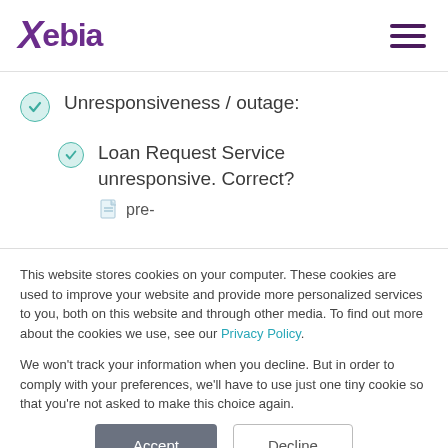[Figure (logo): Xebia company logo in purple with italic X and hamburger menu icon on right]
Unresponsiveness / outage:
Loan Request Service unresponsive. Correct?
pre-
This website stores cookies on your computer. These cookies are used to improve your website and provide more personalized services to you, both on this website and through other media. To find out more about the cookies we use, see our Privacy Policy.

We won't track your information when you decline. But in order to comply with your preferences, we'll have to use just one tiny cookie so that you're not asked to make this choice again.
Accept
Decline